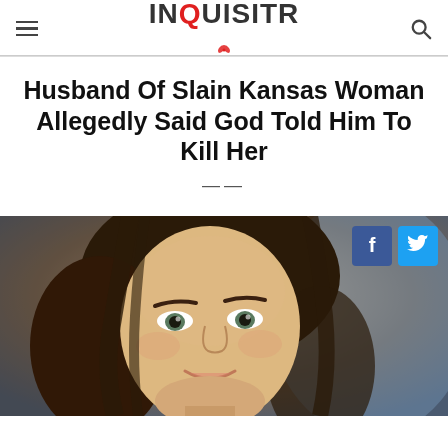INQUISITR
Husband Of Slain Kansas Woman Allegedly Said God Told Him To Kill Her
[Figure (photo): Close-up selfie photo of a young woman with long wavy dark brown hair and light eyes, smiling, taken in a car. Social sharing buttons for Facebook and Twitter overlaid in the top right corner of the image.]